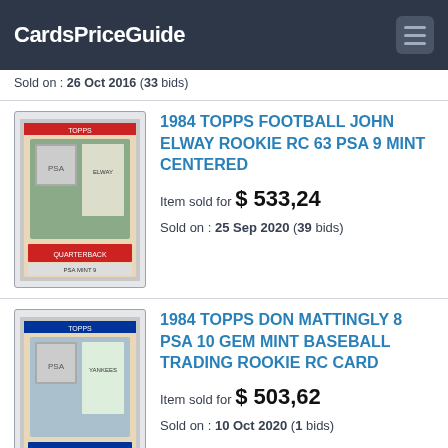CardsPriceGuide
Sold on : 26 Oct 2016 (33 bids)
[Figure (photo): PSA graded 1984 Topps Football John Elway Rookie RC card in protective slab]
1984 TOPPS FOOTBALL JOHN ELWAY ROOKIE RC 63 PSA 9 MINT CENTERED
Item sold for $ 533,24
Sold on : 25 Sep 2020 (39 bids)
[Figure (photo): PSA graded 1984 Topps Don Mattingly Rookie RC card in protective slab]
1984 TOPPS DON MATTINGLY 8 PSA 10 GEM MINT BASEBALL TRADING ROOKIE RC CARD
Item sold for $ 503,62
Sold on : 10 Oct 2020 (1 bids)